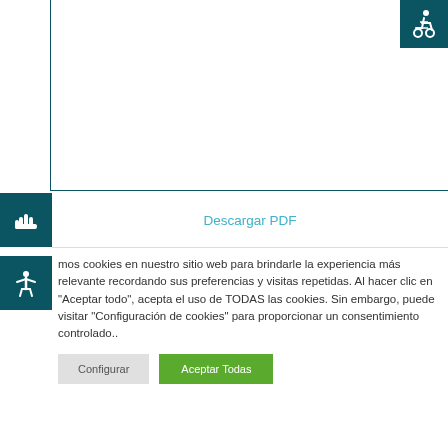[Figure (illustration): Accessibility wheelchair icon in white on dark teal background, top-right corner]
[Figure (illustration): Hand/stop icon in white on dark teal background, left side]
Descargar PDF
[Figure (illustration): Person with arms raised icon in white on dark teal background, left side]
mos cookies en nuestro sitio web para brindarle la experiencia más relevante recordando sus preferencias y visitas repetidas. Al hacer clic en "Aceptar todo", acepta el uso de TODAS las cookies. Sin embargo, puede visitar "Configuración de cookies" para proporcionar un consentimiento controlado..
Configurar
Aceptar Todas